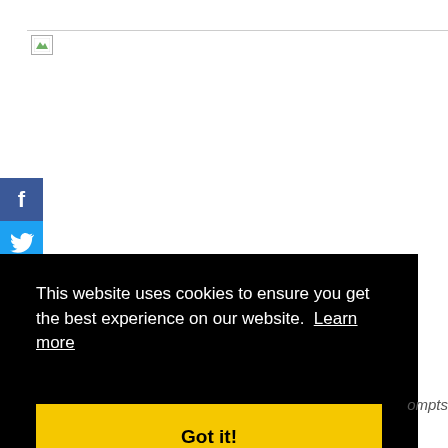[Figure (logo): Website logo placeholder image in header bar]
[Figure (infographic): Facebook share button - dark blue square with white 'f' icon]
[Figure (infographic): Twitter share button - blue square with white bird icon]
This website uses cookies to ensure you get the best experience on our website. Learn more
Got it!
ompts